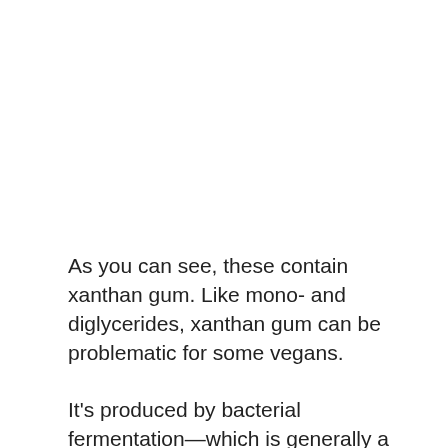As you can see, these contain xanthan gum. Like mono- and diglycerides, xanthan gum can be problematic for some vegans.
It's produced by bacterial fermentation—which is generally a good thing as far as vegan-friendliness—but some cultures of the bacteria used are fed on lactose, which is the